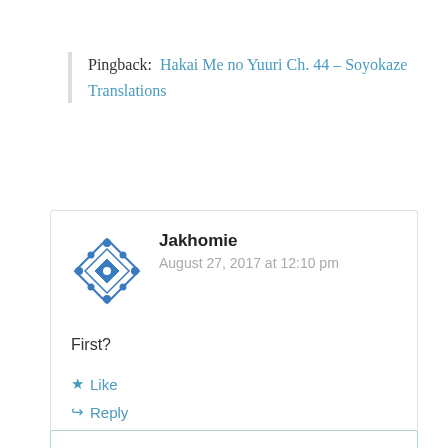Pingback: Hakai Me no Yuuri Ch. 44 – Soyokaze Translations
Jakhomie
August 27, 2017 at 12:10 pm
First?
Like
Reply